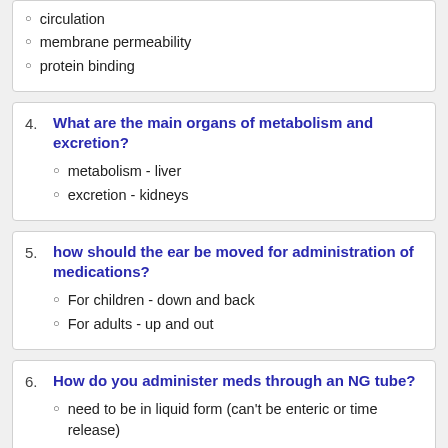circulation
membrane permeability
protein binding
What are the main organs of metabolism and excretion?
metabolism - liver
excretion - kidneys
how should the ear be moved for administration of medications?
For children - down and back
For adults - up and out
How do you administer meds through an NG tube?
need to be in liquid form (can't be enteric or time release)